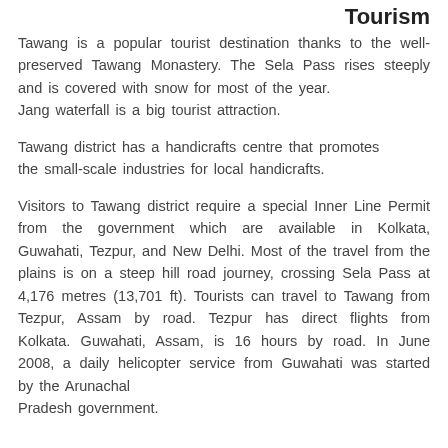Tourism
Tawang is a popular tourist destination thanks to the well-preserved Tawang Monastery. The Sela Pass rises steeply and is covered with snow for most of the year. Jang waterfall is a big tourist attraction.
Tawang district has a handicrafts centre that promotes the small-scale industries for local handicrafts.
Visitors to Tawang district require a special Inner Line Permit from the government which are available in Kolkata, Guwahati, Tezpur, and New Delhi. Most of the travel from the plains is on a steep hill road journey, crossing Sela Pass at 4,176 metres (13,701 ft). Tourists can travel to Tawang from Tezpur, Assam by road. Tezpur has direct flights from Kolkata. Guwahati, Assam, is 16 hours by road. In June 2008, a daily helicopter service from Guwahati was started by the Arunachal Pradesh government.